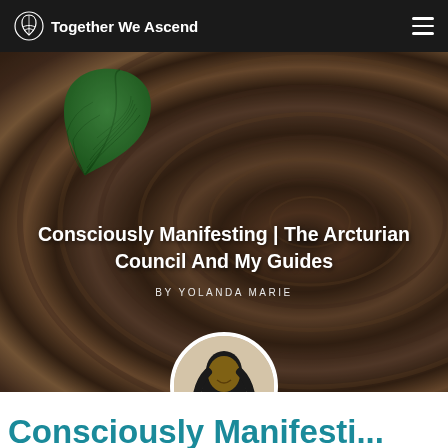Together We Ascend
[Figure (photo): Hero banner showing tree rings (wood cross-section) background with a green tropical leaf in the upper left. Overlaid white text reads the article title and author byline. A circular author portrait photo is centered at the bottom edge of the hero image.]
Consciously Manifesting | The Arcturian Council And My Guides
BY YOLANDA MARIE
Consciously Manifesti...